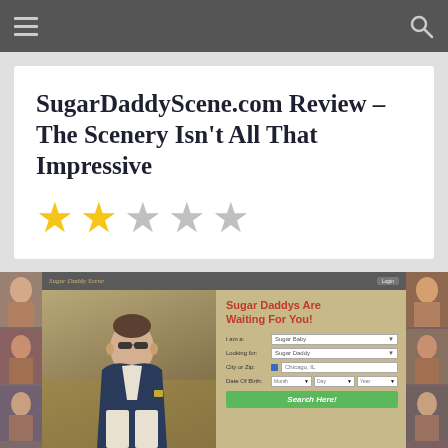Navigation bar with hamburger menu and search icon
SugarDaddyScene.com Review – The Scenery Isn't All That Impressive
[Figure (other): 2-star rating out of 5 stars shown as yellow filled stars and grey empty stars]
[Figure (screenshot): Screenshot of SugarDaddyScene.com website showing a man in a suit sitting by a car, and a registration form with fields for I am a, Looking for, City or Zip, Date of Birth, and a Search Here button. The heading reads Sugar Daddys Are Waiting For You!]